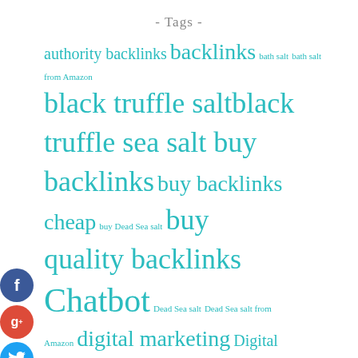- Tags -
[Figure (infographic): Tag cloud with social sharing icons. Tags include: authority backlinks, backlinks, bath salt, bath salt from Amazon, black truffle salt, black truffle sea salt, buy backlinks, buy backlinks cheap, buy Dead Sea salt, buy quality backlinks, Chatbot, Dead Sea salt, Dead Sea salt from Amazon, digital marketing, Digital Marketing Agency, digital marketing course, digital marketing courses, email marketing, Facebook Chatbot, Facebook Messenger Bot, fb messenger bot, Himalayan pink salt, Himalayan salt, kids marketing, automation course, marketing courses, Messenger. Social icons: Facebook, Google+, Twitter, Add.]